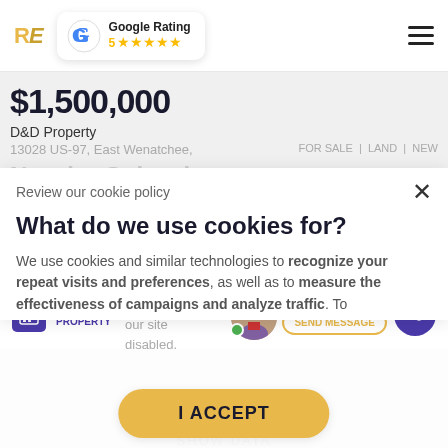RE | Google Rating 5 ★★★★★
$1,500,000
D&D Property
13028 US-97, East Wenatchee, W
FOR SALE | LAND | NEW
Nearby Schools
Review our cookie policy
What do we use cookies for?
We use cookies and similar technologies to recognize your repeat visits and preferences, as well as to measure the effectiveness of campaigns and analyze traffic. To...
TOUR THIS PROPERTY
Contact Broker
SEND MESSAGE
I ACCEPT
SHOW DATA